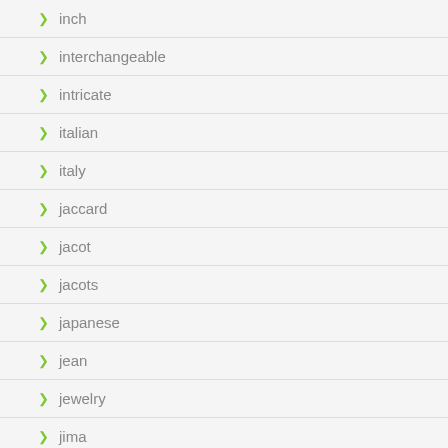inch
interchangeable
intricate
italian
italy
jaccard
jacot
jacots
japanese
jean
jewelry
jima